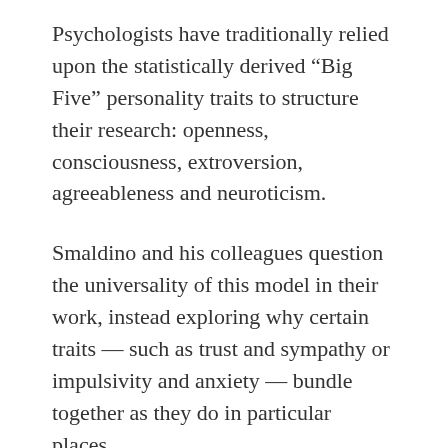Psychologists have traditionally relied upon the statistically derived “Big Five” personality traits to structure their research: openness, consciousness, extroversion, agreeableness and neuroticism.
Smaldino and his colleagues question the universality of this model in their work, instead exploring why certain traits — such as trust and sympathy or impulsivity and anxiety — bundle together as they do in particular places.
The researchers looked at personality